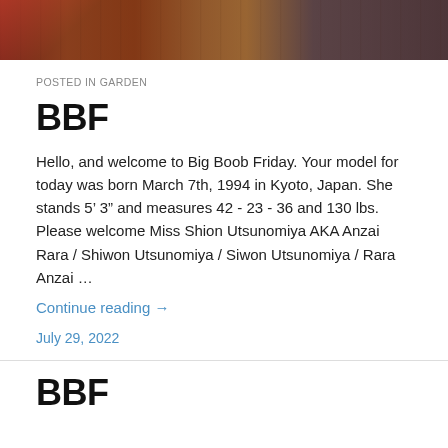[Figure (photo): Partial photo strip showing people, cropped at top of page]
POSTED IN GARDEN
BBF
Hello, and welcome to Big Boob Friday. Your model for today was born March 7th, 1994 in Kyoto, Japan. She stands 5’ 3” and measures 42 - 23 - 36 and 130 lbs. Please welcome Miss Shion Utsunomiya AKA Anzai Rara / Shiwon Utsunomiya / Siwon Utsunomiya / Rara Anzai …
Continue reading →
July 29, 2022
BBF